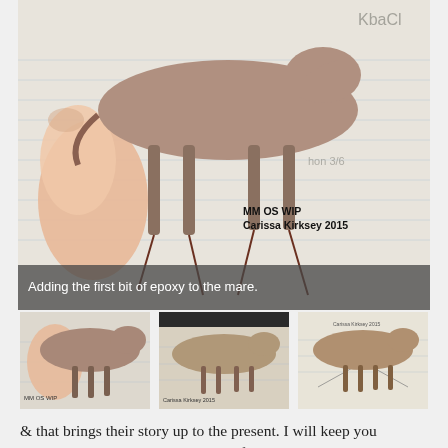[Figure (photo): Close-up photo of a hand holding a small horse sculpture (work in progress) made from brown epoxy clay, positioned against a background with lined paper showing sketches. Watermark text reads 'MM OS WIP / Carissa Kirksey 2015'.]
Adding the first bit of epoxy to the mare.
[Figure (photo): Thumbnail 1: Small brown horse sculpture held against lined paper with sketches, similar angle to main photo.]
[Figure (photo): Thumbnail 2: Brown horse sculpture shown beside hand-drawn sketches on paper.]
[Figure (photo): Thumbnail 3: Horse sculpture shown against notebook paper with proportion line sketches.]
& that brings their story up to the present. I will keep you updated on them as I move along! If anyone has any questions, please feel free to comment or contact me! Thanks for reading!